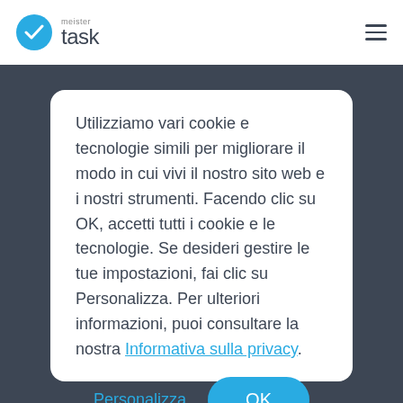[Figure (logo): MeisterTask logo: blue circle with white checkmark, followed by text 'meister' above 'task']
Utilizziamo vari cookie e tecnologie simili per migliorare il modo in cui vivi il nostro sito web e i nostri strumenti. Facendo clic su OK, accetti tutti i cookie e le tecnologie. Se desideri gestire le tue impostazioni, fai clic su Personalizza. Per ulteriori informazioni, puoi consultare la nostra Informativa sulla privacy.
Personalizza
OK